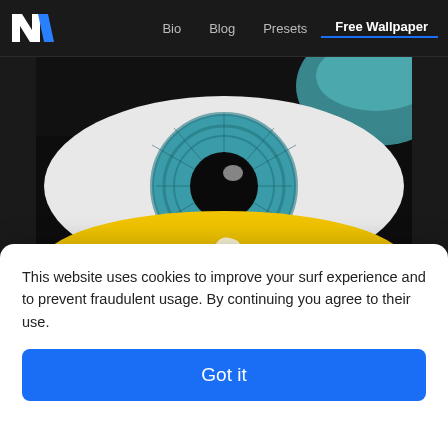Bio  Blog  Presets  Free Wallpaper
[Figure (photo): Close-up artistic photo of an eye with teal iris, yellow and black makeup/paint reminiscent of the Ukrainian flag colors, with a tear drop, dramatic macro shot.]
Ukraine's tears
This website uses cookies to improve your surf experience and to prevent fraudulent usage. By continuing you agree to their use.
Got it